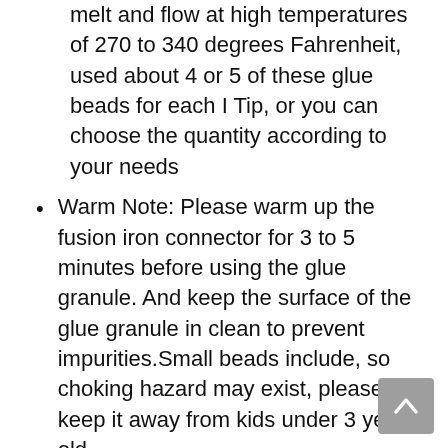melt and flow at high temperatures of 270 to 340 degrees Fahrenheit, used about 4 or 5 of these glue beads for each I Tip, or you can choose the quantity according to your needs
Warm Note: Please warm up the fusion iron connector for 3 to 5 minutes before using the glue granule. And keep the surface of the glue granule in clean to prevent impurities.Small beads include, so choking hazard may exist, please keep it away from kids under 3 years old
5   Neitsi Fusion Bond Crusher Tool for Keratin Hair Extensions  (Thread